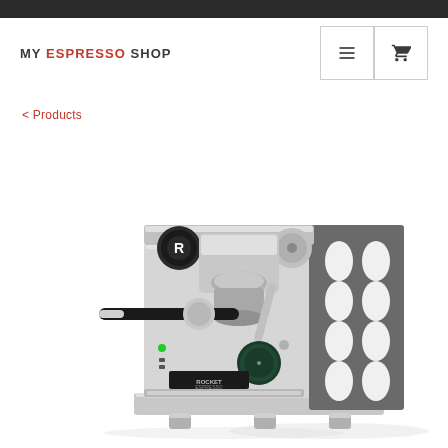MY ESPRESSO SHOP
< Products
[Figure (photo): Rocket Espresso machine, silver/stainless steel body with black portafilter handle, pressure gauge, and decorative side panel with oval cutouts arranged in a 3x4 grid pattern]